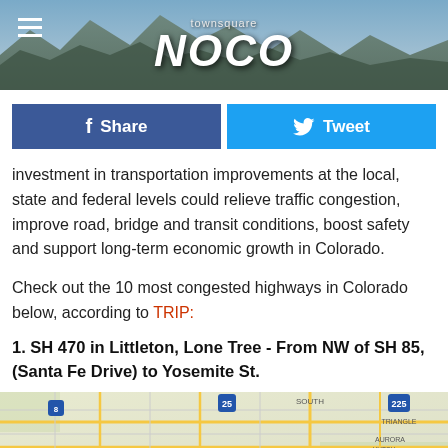[Figure (photo): Townsquare NOCO website header banner with mountain landscape background and site logo]
[Figure (infographic): Social media sharing buttons: Facebook Share (dark blue) and Twitter Tweet (light blue)]
investment in transportation improvements at the local, state and federal levels could relieve traffic congestion, improve road, bridge and transit conditions, boost safety and support long-term economic growth in Colorado.
Check out the 10 most congested highways in Colorado below, according to TRIP:
1. SH 470 in Littleton, Lone Tree - From NW of SH 85, (Santa Fe Drive) to Yosemite St.
[Figure (map): Map showing the Englewood/Littleton area of Colorado with road networks, showing Aurora, Southeast, Triangle, and Meadow Heights areas]